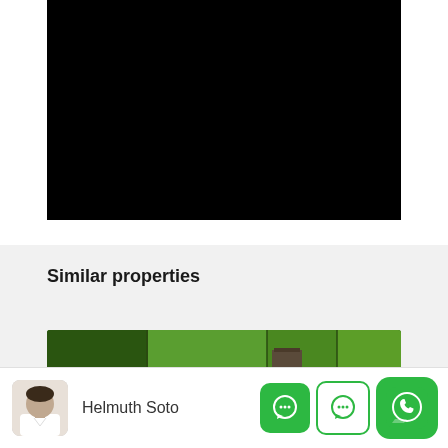[Figure (photo): Black rectangle representing a video player area with no visible content]
Similar properties
[Figure (photo): Aerial drone photo of green fields/land with SALE and GUACIMA badges in lower right]
Helmuth Soto